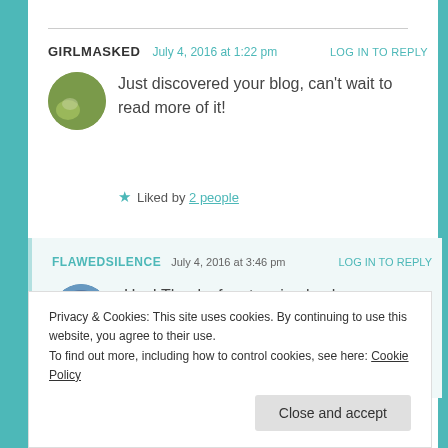GIRLMASKED  July 4, 2016 at 1:22 pm  LOG IN TO REPLY
Just discovered your blog, can't wait to read more of it!
★ Liked by 2 people
FLAWEDSILENCE  July 4, 2016 at 3:46 pm  LOG IN TO REPLY
Hey! Thanks for stopping by; hope you enjoy the contents of my blog.
Privacy & Cookies: This site uses cookies. By continuing to use this website, you agree to their use.
To find out more, including how to control cookies, see here: Cookie Policy
Close and accept